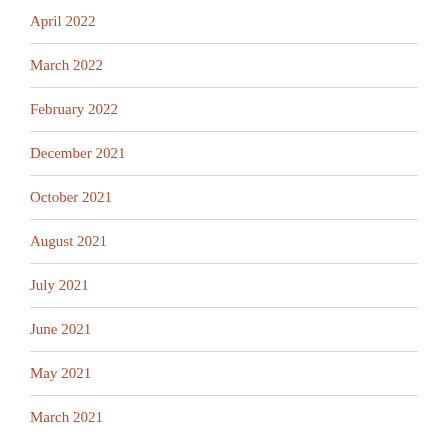April 2022
March 2022
February 2022
December 2021
October 2021
August 2021
July 2021
June 2021
May 2021
March 2021